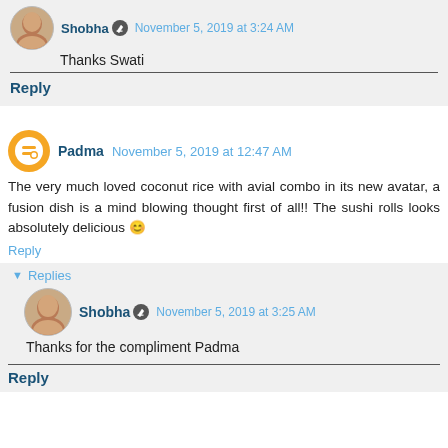Shobha November 5, 2019 at 3:24 AM
Thanks Swati
Reply
Padma November 5, 2019 at 12:47 AM
The very much loved coconut rice with avial combo in its new avatar, a fusion dish is a mind blowing thought first of all!! The sushi rolls looks absolutely delicious 😊
Reply
Replies
Shobha November 5, 2019 at 3:25 AM
Thanks for the compliment Padma
Reply